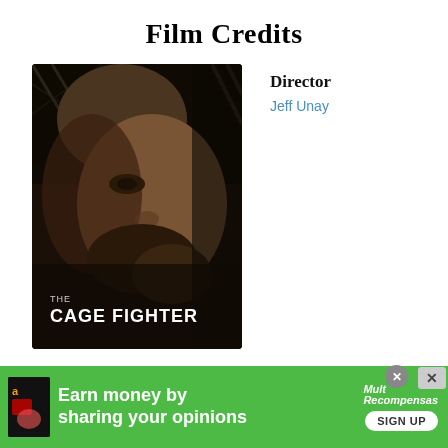Film Credits
[Figure (photo): Movie poster for 'The Cage Fighter' showing a bearded man's face in profile against a dark background with cage wire. Text on poster reads 'THE CAGE FIGHTER'.]
Director
Jeff Unay
The Cage Fighter
[Figure (other): Green advertisement banner: 'Earn money by sharing your opinions' with Amazon logo on left and MultRecompensas/SIGN UP button on right. Close buttons visible.]